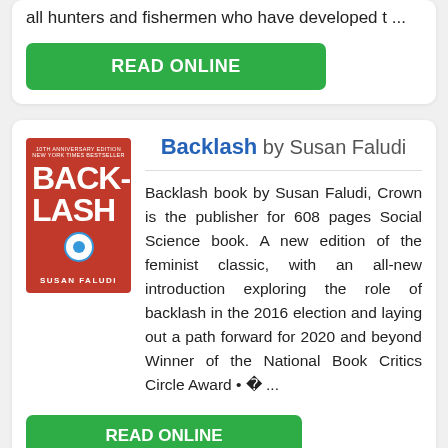all hunters and fishermen who have developed t ...
READ ONLINE
Backlash by Susan Faludi
Backlash book by Susan Faludi, Crown is the publisher for 608 pages Social Science book. A new edition of the feminist classic, with an all-new introduction exploring the role of backlash in the 2016 election and laying out a path forward for 2020 and beyond Winner of the National Book Critics Circle Award • � ...
READ ONLINE